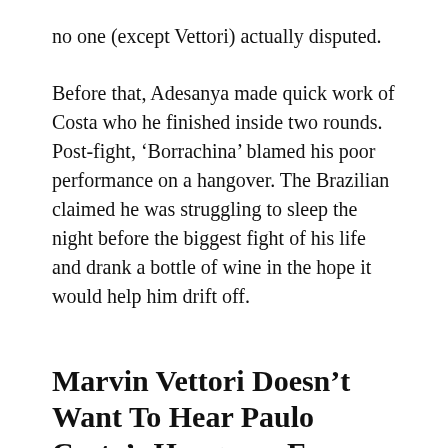no one (except Vettori) actually disputed.
Before that, Adesanya made quick work of Costa who he finished inside two rounds. Post-fight, ‘Borrachina’ blamed his poor performance on a hangover. The Brazilian claimed he was struggling to sleep the night before the biggest fight of his life and drank a bottle of wine in the hope it would help him drift off.
Marvin Vettori Doesn’t Want To Hear Paulo Costa’s Hangover Excuse